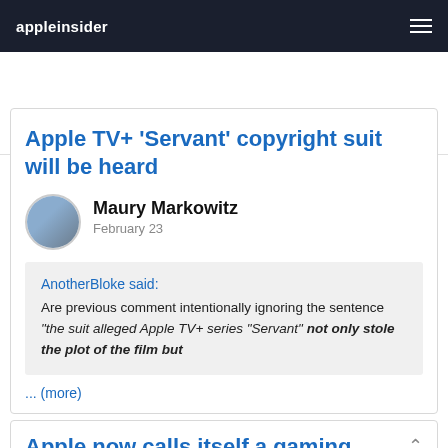appleinsider
Comments 348   Best Of...
Apple TV+ 'Servant' copyright suit will be heard
Maury Markowitz
February 23
AnotherBloke said:
Are previous comment intentionally ignoring the sentence "the suit alleged Apple TV+ series "Servant" not only stole the plot of the film but
... (more)
Apple now calls itself a gaming